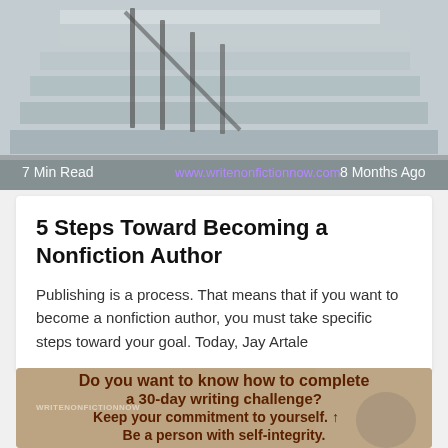[Figure (photo): Photo of white outdoor stairs with metal railing, light blue-grey tones. Shows '7 Min Read', 'www.writenonfictionnow.com', and '8 Months Ago' overlaid at the bottom.]
5 Steps Toward Becoming a Nonfiction Author
Publishing is a process. That means that if you want to become a nonfiction author, you must take specific steps toward your goal. Today, Jay Artale
[Figure (illustration): Image with bold brown text overlay: 'Do you want to know how to complete a 30-day writing challenge? Keep your commitment to yourself. Be a person with self-integrity.' Watermark reads WRITENONFICTIONNOW. Background shows people sitting.]